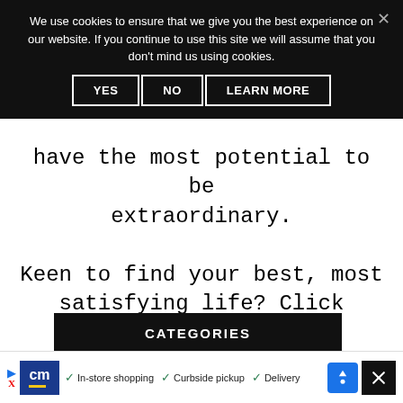We use cookies to ensure that we give you the best experience on our website. If you continue to use this site we will assume that you don't mind us using cookies.
YES   NO   LEARN MORE
have the most potential to be extraordinary. Keen to find your best, most satisfying life? Click "Start Here!" up the top. Or click my rad face here. Either one will start your journey.
CATEGORIES
In-store shopping  Curbside pickup  Delivery